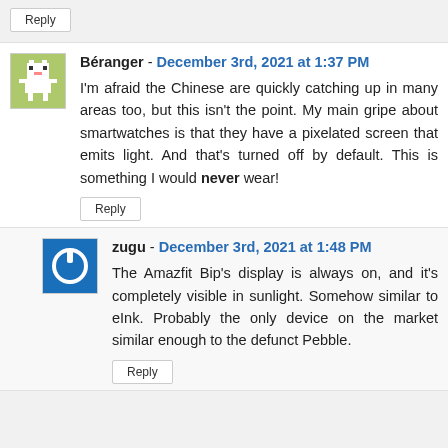Reply
Béranger - December 3rd, 2021 at 1:37 PM
I'm afraid the Chinese are quickly catching up in many areas too, but this isn't the point. My main gripe about smartwatches is that they have a pixelated screen that emits light. And that's turned off by default. This is something I would never wear!
Reply
zugu - December 3rd, 2021 at 1:48 PM
The Amazfit Bip's display is always on, and it's completely visible in sunlight. Somehow similar to eInk. Probably the only device on the market similar enough to the defunct Pebble.
Reply